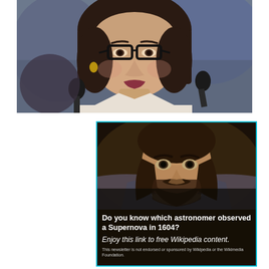[Figure (photo): A woman with dark hair, glasses with black frames, and gold earrings, wearing a white jacket, speaking at a podium with two microphones visible. Background is blurred purple/blue (appears to be a government or committee hearing setting).]
[Figure (photo): An advertisement with a portrait painting of a bearded Renaissance-era man (historical astronomer). Text overlay reads: 'Do you know which astronomer observed a Supernova in 1604? Enjoy this link to free Wikipedia content. This newsletter is not endorsed or sponsored by Wikipedia or the Wikimedia Foundation.' The ad has a cyan/teal border.]